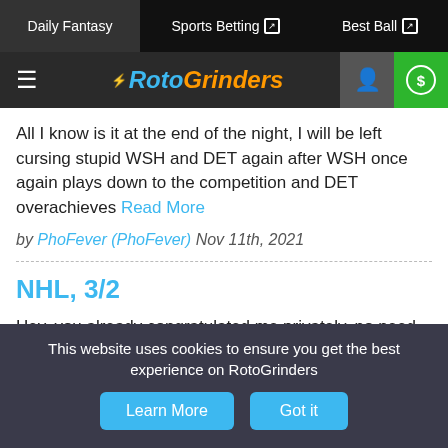Daily Fantasy | Sports Betting | Best Ball
[Figure (logo): RotoGrinders logo with hamburger menu, user icon, and dollar sign icon]
All I know is it at the end of the night, I will be left cursing stupid WSH and DET again after WSH once again plays down to the competition and DET overachieves Read More
by PhoFever (PhoFever) Nov 11th, 2021
NHL, 3/2
Hey, you already congratulated me privately, no need to double up lol :) @Felix - thanks!!! Read More
by PhoFever (PhoFever) Mar 2nd, 2021
This website uses cookies to ensure you get the best experience on RotoGrinders